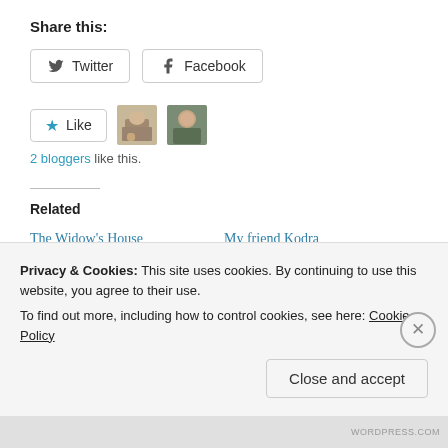Share this:
Twitter  Facebook
Like  [2 blogger avatars]
2 bloggers like this.
Related
The Widow's House
August 26, 2015
In "The Widow's House"
My friend Kodra
April 1, 2016
In "feeding the hungry"
Sight is important
Privacy & Cookies: This site uses cookies. By continuing to use this website, you agree to their use.
To find out more, including how to control cookies, see here: Cookie Policy
Close and accept